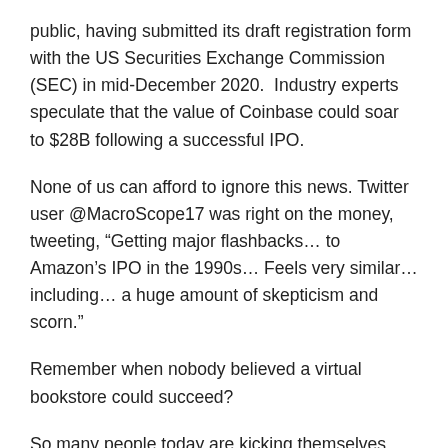public, having submitted its draft registration form with the US Securities Exchange Commission (SEC) in mid-December 2020.  Industry experts speculate that the value of Coinbase could soar to $28B following a successful IPO.
None of us can afford to ignore this news. Twitter user @MacroScope17 was right on the money, tweeting, “Getting major flashbacks… to Amazon’s IPO in the 1990s… Feels very similar… including… a huge amount of skepticism and scorn.”
Remember when nobody believed a virtual bookstore could succeed?
So many people today are kicking themselves, realizing that if they’d bought Amazon back then, they’d be billionaires by now. In that spirit, here’s everything you